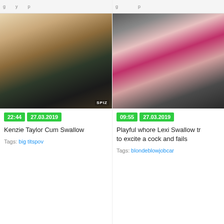[Figure (photo): Thumbnail image of blonde woman in lingerie on sofa]
22:44  27.03.2019
Kenzie Taylor Cum Swallow
Tags: big titspov
[Figure (photo): Thumbnail image of two people in a vehicle interior]
09:55  27.03.2019
Playful whore Lexi Swallow tries to excite a cock and fails
Tags: blondeblowjobcar